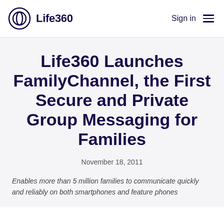Life360  Sign in
Life360 Launches FamilyChannel, the First Secure and Private Group Messaging for Families
November 18, 2011
Enables more than 5 million families to communicate quickly and reliably on both smartphones and feature phones